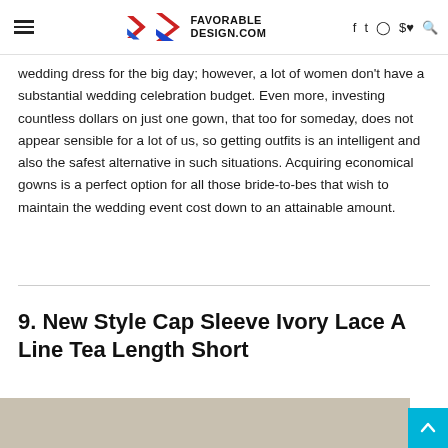FAVORABLE DESIGN.COM
wedding dress for the big day; however, a lot of women don't have a substantial wedding celebration budget. Even more, investing countless dollars on just one gown, that too for someday, does not appear sensible for a lot of us, so getting outfits is an intelligent and also the safest alternative in such situations. Acquiring economical gowns is a perfect option for all those bride-to-bes that wish to maintain the wedding event cost down to an attainable amount.
9. New Style Cap Sleeve Ivory Lace A Line Tea Length Short
[Figure (photo): Bottom partial image strip showing a light beige/taupe background, beginning of a product photo]